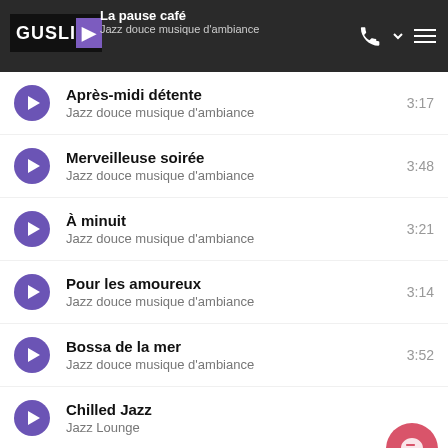GUSLIE — La pause café / Jazz douce musique d'ambiance
Après-midi détente — Jazz douce musique d'ambiance — 3:17
Merveilleuse soirée — Jazz douce musique d'ambiance — 3:48
À minuit — Jazz douce musique d'ambiance — 3:21
Pour les amoureux — Jazz douce musique d'ambiance — 3:14
Bossa de la mer — Jazz douce musique d'ambiance — 3:52
Chilled Jazz — Jazz Lounge
Ambient Lounge